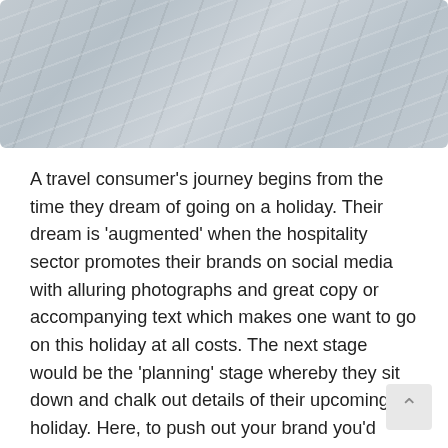[Figure (photo): A photo of a light grey tiled or textured stone/marble floor surface viewed from an angle, with diagonal lines and subtle texture variations.]
A travel consumer's journey begins from the time they dream of going on a holiday. Their dream is 'augmented' when the hospitality sector promotes their brands on social media with alluring photographs and great copy or accompanying text which makes one want to go on this holiday at all costs. The next stage would be the 'planning' stage whereby they sit down and chalk out details of their upcoming holiday. Here, to push out your brand you'd need an appealing website, content with long-tail keywords,  engaging content on your travel website, investment in pay-per-click advertisements etc. All these will tell the travel customer that you are the answer are looking for. Booking their travel and stay would next step, and it is a no-brainer that all customers look for